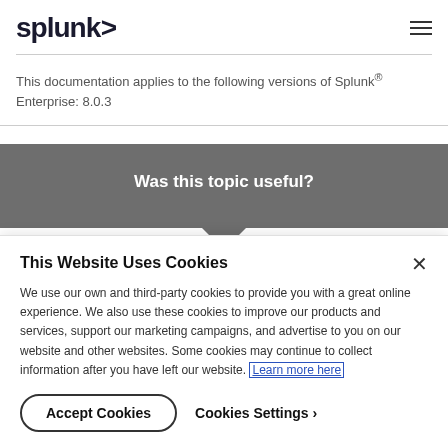splunk>
This documentation applies to the following versions of Splunk® Enterprise: 8.0.3
Was this topic useful?
This Website Uses Cookies
We use our own and third-party cookies to provide you with a great online experience. We also use these cookies to improve our products and services, support our marketing campaigns, and advertise to you on our website and other websites. Some cookies may continue to collect information after you have left our website. Learn more here
Accept Cookies
Cookies Settings ›